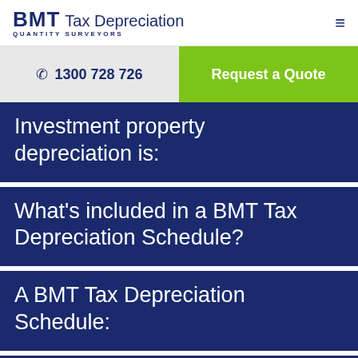BMT Tax Depreciation QUANTITY SURVEYORS
1300 728 726
Request a Quote
Investment property depreciation is:
What's included in a BMT Tax Depreciation Schedule?
A BMT Tax Depreciation Schedule:
How do I organise a schedule?